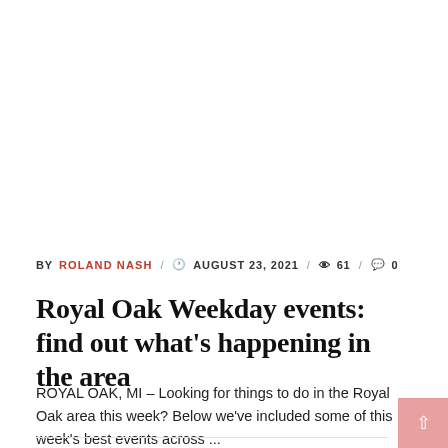BY ROLAND NASH / 🕐 AUGUST 23, 2021 / 👁 61 / 💬 0
Royal Oak Weekday events: find out what's happening in the area
ROYAL OAK, MI – Looking for things to do in the Royal Oak area this week? Below we've included some of this week's best events across ...
READ MORE